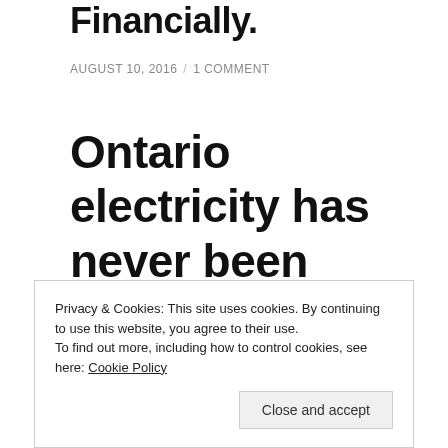Financially.
AUGUST 10, 2016 / 1 COMMENT
Ontario electricity has never been cheaper, but bills have never
Privacy & Cookies: This site uses cookies. By continuing to use this website, you agree to their use. To find out more, including how to control cookies, see here: Cookie Policy
Close and accept